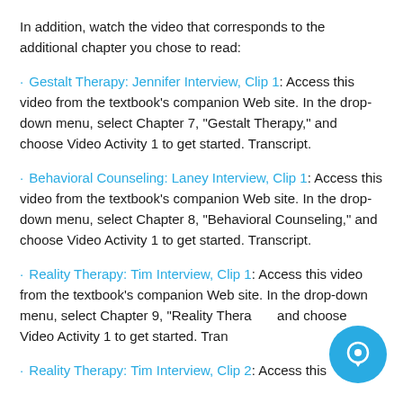In addition, watch the video that corresponds to the additional chapter you chose to read:
· Gestalt Therapy: Jennifer Interview, Clip 1: Access this video from the textbook's companion Web site. In the drop-down menu, select Chapter 7, “Gestalt Therapy,” and choose Video Activity 1 to get started. Transcript.
· Behavioral Counseling: Laney Interview, Clip 1: Access this video from the textbook's companion Web site. In the drop-down menu, select Chapter 8, “Behavioral Counseling,” and choose Video Activity 1 to get started. Transcript.
· Reality Therapy: Tim Interview, Clip 1: Access this video from the textbook's companion Web site. In the drop-down menu, select Chapter 9, “Reality Therapy,” and choose Video Activity 1 to get started. Transcript.
· Reality Therapy: Tim Interview, Clip 2: Access this